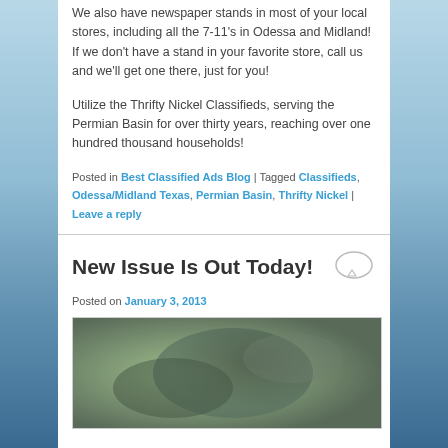We also have newspaper stands in most of your local stores, including all the 7-11's in Odessa and Midland! If we don't have a stand in your favorite store, call us and we'll get one there, just for you!
Utilize the Thrifty Nickel Classifieds, serving the Permian Basin for over thirty years, reaching over one hundred thousand households!
Posted in Best Classified Ads Blog | Tagged Classifieds, Odessa/Midland Texas, Permian Basin, Thrifty Nickel | Leave a reply
New Issue Is Out Today!
Posted on January 3, 2013
[Figure (photo): A blurred close-up photo with green and dark tones, possibly an outdoor animal or nature scene.]